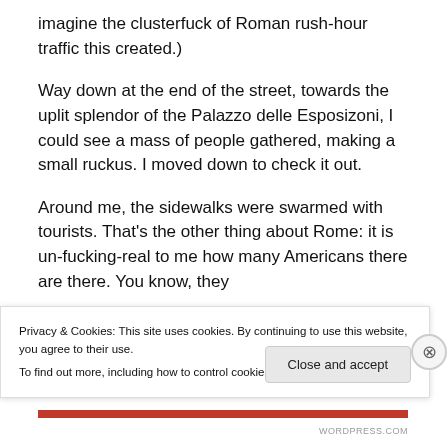imagine the clusterfuck of Roman rush-hour traffic this created.)
Way down at the end of the street, towards the uplit splendor of the Palazzo delle Esposizoni, I could see a mass of people gathered, making a small ruckus. I moved down to check it out.
Around me, the sidewalks were swarmed with tourists. That's the other thing about Rome: it is un-fucking-real to me how many Americans there are there. You know, they
Privacy & Cookies: This site uses cookies. By continuing to use this website, you agree to their use.
To find out more, including how to control cookies, see here: Cookie Policy
Close and accept